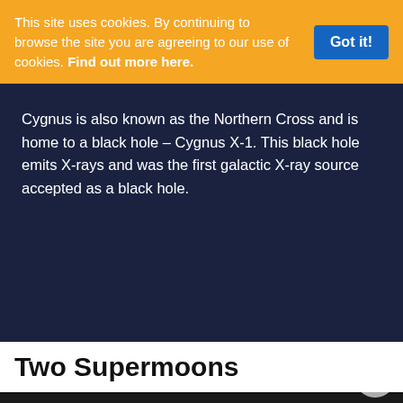This site uses cookies. By continuing to browse the site you are agreeing to our use of cookies. Find out more here.
Cygnus is also known as the Northern Cross and is home to a black hole – Cygnus X-1. This black hole emits X-rays and was the first galactic X-ray source accepted as a black hole.
Two Supermoons
[Figure (photo): Photograph of the moon (supermoon) showing a close-up of the lunar surface with craters visible, set against a black background.]